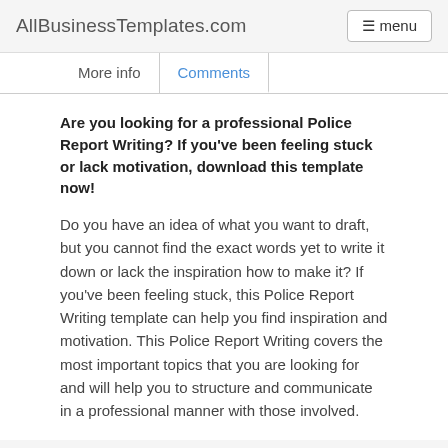AllBusinessTemplates.com  menu
More info   Comments
Are you looking for a professional Police Report Writing? If you've been feeling stuck or lack motivation, download this template now!
Do you have an idea of what you want to draft, but you cannot find the exact words yet to write it down or lack the inspiration how to make it? If you've been feeling stuck, this Police Report Writing template can help you find inspiration and motivation. This Police Report Writing covers the most important topics that you are looking for and will help you to structure and communicate in a professional manner with those involved.